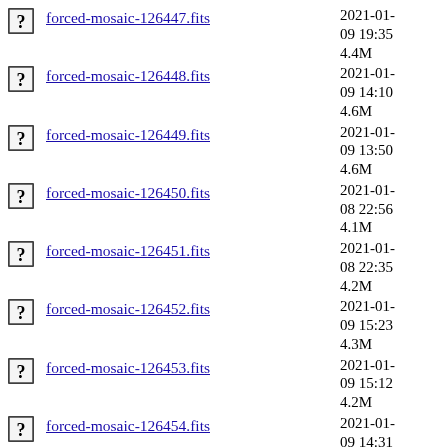forced-mosaic-126447.fits  2021-01-09 19:35  4.4M
forced-mosaic-126448.fits  2021-01-09 14:10  4.6M
forced-mosaic-126449.fits  2021-01-09 13:50  4.6M
forced-mosaic-126450.fits  2021-01-08 22:56  4.1M
forced-mosaic-126451.fits  2021-01-08 22:35  4.2M
forced-mosaic-126452.fits  2021-01-09 15:23  4.3M
forced-mosaic-126453.fits  2021-01-09 15:12  4.2M
forced-mosaic-126454.fits  2021-01-09 14:31  4.1M
forced-mosaic-126455.fits  2021-01-09 14:20  4.6M
forced-mosaic-126456.fits  2021-01-09 18:05  4.4M
forced-mosaic-126457.fits  2021-01-09 17:54  4.7M